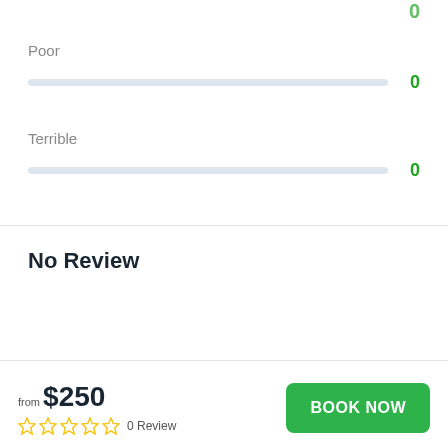Poor
[Figure (other): Progress bar for 'Poor' rating showing 0 count]
Terrible
[Figure (other): Progress bar for 'Terrible' rating showing 0 count]
No Review
You must log in to write review
from $250
[Figure (other): Five empty star ratings with 0 Review label]
BOOK NOW